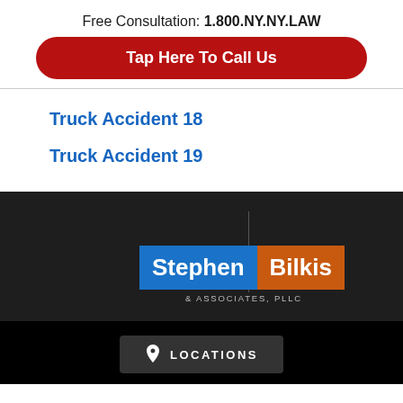Free Consultation: 1.800.NY.NY.LAW
Tap Here To Call Us
Truck Accident 18
Truck Accident 19
[Figure (logo): Law Offices of Stephen Bilkis & Associates, PLLC logo with blue and orange background panels]
LOCATIONS